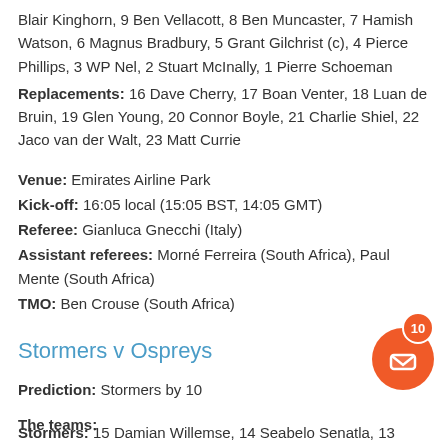Blair Kinghorn, 9 Ben Vellacott, 8 Ben Muncaster, 7 Hamish Watson, 6 Magnus Bradbury, 5 Grant Gilchrist (c), 4 Pierce Phillips, 3 WP Nel, 2 Stuart McInally, 1 Pierre Schoeman
Replacements: 16 Dave Cherry, 17 Boan Venter, 18 Luan de Bruin, 19 Glen Young, 20 Connor Boyle, 21 Charlie Shiel, 22 Jaco van der Walt, 23 Matt Currie
Venue: Emirates Airline Park
Kick-off: 16:05 local (15:05 BST, 14:05 GMT)
Referee: Gianluca Gnecchi (Italy)
Assistant referees: Morné Ferreira (South Africa), Paul Mente (South Africa)
TMO: Ben Crouse (South Africa)
Stormers v Ospreys
Prediction: Stormers by 10
The teams:
Stormers: 15 Damian Willemse, 14 Seabelo Senatla, 13...